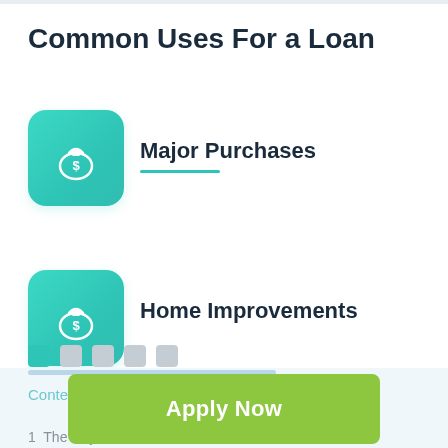Common Uses For a Loan
Major Purchases
Home Improvements
[Figure (infographic): Teal rounded square icon with a money bag (dollar sign) symbol for Major Purchases]
[Figure (infographic): Teal rounded square icon with a money bag (dollar sign) symbol for Home Improvements]
[Figure (infographic): Pagination dots: one green active dot and four grey inactive dots]
[Figure (infographic): Grey rounded square button with upward arrow]
Contents (tap to hide) ^
Apply Now
Applying does NOT affect your credit score! No credit check to apply.
1  The way online installment loans Vancouver work